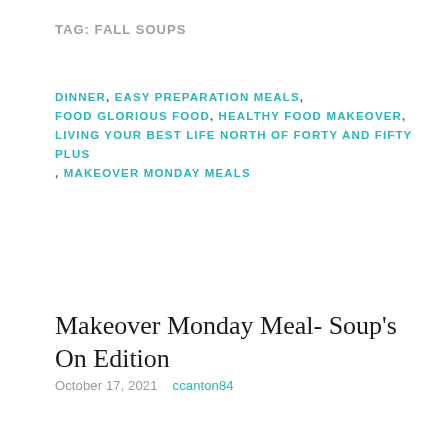TAG: FALL SOUPS
DINNER, EASY PREPARATION MEALS, FOOD GLORIOUS FOOD, HEALTHY FOOD MAKEOVER, LIVING YOUR BEST LIFE NORTH OF FORTY AND FIFTY PLUS , MAKEOVER MONDAY MEALS
Makeover Monday Meal- Soup's On Edition
October 17, 2021   ccanton84